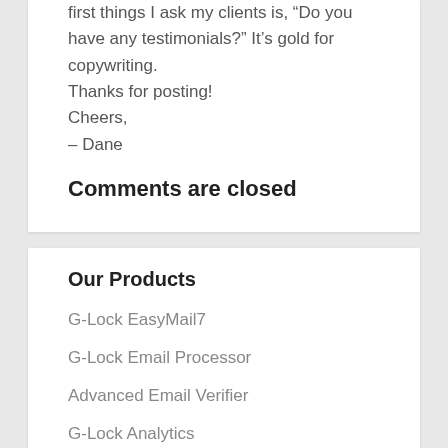first things I ask my clients is, "Do you have any testimonials?" It’s gold for copywriting.
Thanks for posting!
Cheers,
– Dane
Comments are closed
Our Products
G-Lock EasyMail7
G-Lock Email Processor
Advanced Email Verifier
G-Lock Analytics
G-Lock SpamCombat